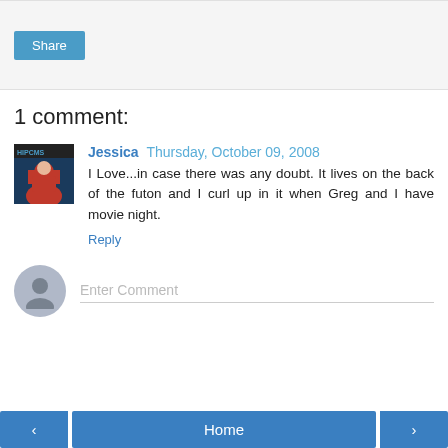[Figure (other): Share button area with light grey background]
1 comment:
[Figure (photo): Avatar thumbnail showing a person in red shirt with blue background label 'HIPCMS']
Jessica Thursday, October 09, 2008
I Love...in case there was any doubt. It lives on the back of the futon and I curl up in it when Greg and I have movie night.
Reply
Enter Comment
< Home >